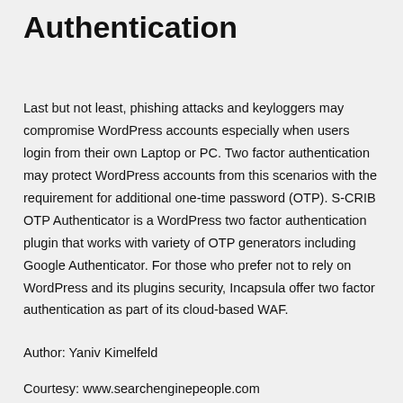Authentication
Last but not least, phishing attacks and keyloggers may compromise WordPress accounts especially when users login from their own Laptop or PC. Two factor authentication may protect WordPress accounts from this scenarios with the requirement for additional one-time password (OTP). S-CRIB OTP Authenticator is a WordPress two factor authentication plugin that works with variety of OTP generators including Google Authenticator. For those who prefer not to rely on WordPress and its plugins security, Incapsula offer two factor authentication as part of its cloud-based WAF.
Author: Yaniv Kimelfeld
Courtesy: www.searchenginepeople.com